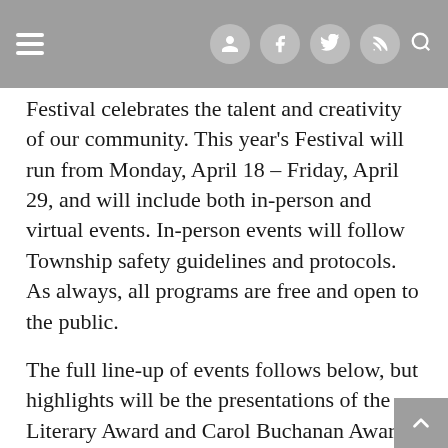Navigation bar with hamburger menu, user icon, Facebook, Twitter, RSS, and search icons
Festival celebrates the talent and creativity of our community. This year's Festival will run from Monday, April 18 – Friday, April 29, and will include both in-person and virtual events. In-person events will follow Township safety guidelines and protocols. As always, all programs are free and open to the public.
The full line-up of events follows below, but highlights will be the presentations of the Literary Award and Carol Buchanan Award. This year, the Library is pleased to announce Ibi Zoboi as the recipient of the Maplewood Literary Award. Ibi is the New York Times bestselling author of My Life as an Ice Cream Sandwich, as well as the young adult novels, American Street and Pride, and co-author of Punching the Air w